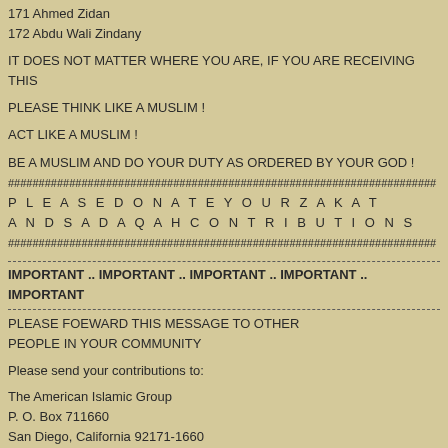171 Ahmed Zidan
172 Abdu Wali Zindany
IT DOES NOT MATTER WHERE YOU ARE, IF YOU ARE RECEIVING THIS
PLEASE THINK LIKE A MUSLIM !
ACT LIKE A MUSLIM !
BE A MUSLIM AND DO YOUR DUTY AS ORDERED BY YOUR GOD !
###############################################
P L E A S E D O N A T E Y O U R Z A K A T
A N D S A D A Q A H C O N T R I B U T I O N S
###############################################
IMPORTANT .. IMPORTANT .. IMPORTANT .. IMPORTANT .. IMPORTANT
PLEASE FOEWARD THIS MESSAGE TO OTHER PEOPLE IN YOUR COMMUNITY
Please send your contributions to:
The American Islamic Group
P. O. Box 711660
San Diego, California 92171-1660
USA
Phone: (619) 268-1585
FAX: (619) 268-8189
Or please send a bank transfer or a money wire to:
Bank of America
Account Number: 09008-14863